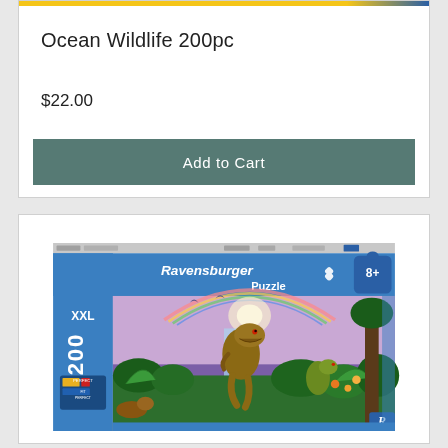Ocean Wildlife 200pc
$22.00
Add to Cart
[Figure (photo): Ravensburger Puzzle box showing dinosaurs in a jungle landscape with a rainbow, labeled 200 XXL pieces, age 8+]